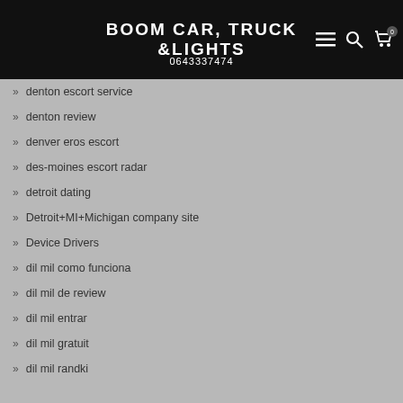BOOM CAR, TRUCK & LIGHTS | 0643337474
Deaf Lovers Dating Related Site
deaf-dating mobile site
definition installment loans
denton escort service
denton review
denver eros escort
des-moines escort radar
detroit dating
Detroit+MI+Michigan company site
Device Drivers
dil mil como funciona
dil mil de review
dil mil entrar
dil mil gratuit
dil mil randki